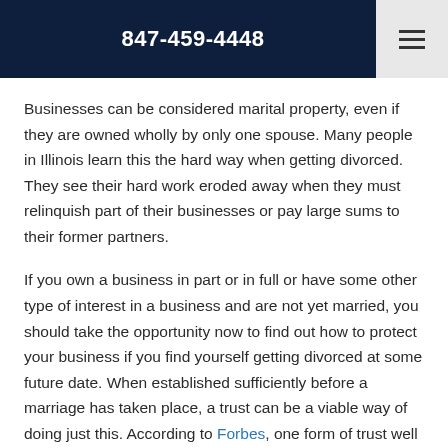847-459-4448
Businesses can be considered marital property, even if they are owned wholly by only one spouse. Many people in Illinois learn this the hard way when getting divorced. They see their hard work eroded away when they must relinquish part of their businesses or pay large sums to their former partners.
If you own a business in part or in full or have some other type of interest in a business and are not yet married, you should take the opportunity now to find out how to protect your business if you find yourself getting divorced at some future date. When established sufficiently before a marriage has taken place, a trust can be a viable way of doing just this. According to Forbes, one form of trust well